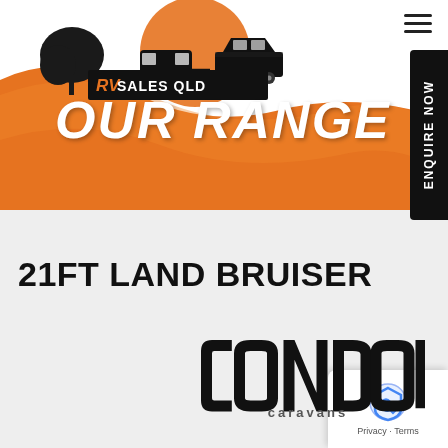[Figure (logo): RV Sales QLD logo with tree, caravan, and car silhouette on orange sun background, with black banner showing 'RV SALES QLD']
OUR RANGE
[Figure (logo): Condor Caravans logo in black and grey stylized lettering]
21FT LAND BRUISER
[Figure (infographic): ENQUIRE NOW vertical black tab on right side]
[Figure (other): Google reCAPTCHA widget with Privacy - Terms text]